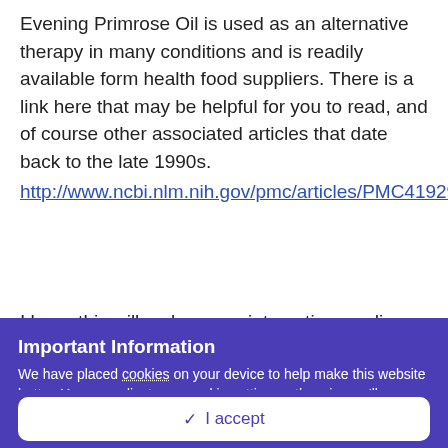Evening Primrose Oil is used as an alternative therapy in many conditions and is readily available form health food suppliers. There is a link here that may be helpful for you to read, and of course other associated articles that date back to the late 1990s.
http://www.ncbi.nlm.nih.gov/pmc/articles/PMC4192992/
I hope this will make some interesting reading. As we
Important Information
We have placed cookies on your device to help make this website better. You can adjust your cookie settings, otherwise we'll assume you're okay to continue. By using our forums you agree to our Terms of Use and Privacy Policy.
✓ I accept